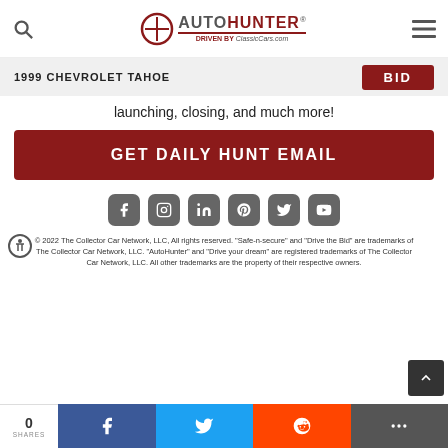AutoHunter — Driven by ClassicCars.com
1999 CHEVROLET TAHOE
launching, closing, and much more!
GET DAILY HUNT EMAIL
[Figure (logo): Social media icons: Facebook, Instagram, LinkedIn, Pinterest, Twitter, YouTube]
© 2022 The Collector Car Network, LLC, All rights reserved. "Safe-n-secure" and "Drive the Bid" are trademarks of The Collector Car Network, LLC. "AutoHunter" and "Drive your dream" are registered trademarks of The Collector Car Network, LLC. All other trademarks are the property of their respective owners.
0 SHARES — Share on Facebook, Twitter, Reddit, More